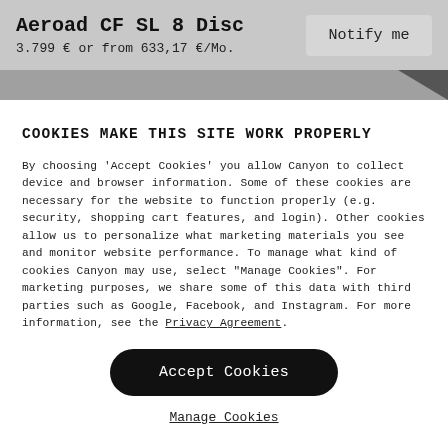Aeroad CF SL 8 Disc
3.799 € or from 633,17 €/Mo.
Notify me
COOKIES MAKE THIS SITE WORK PROPERLY
By choosing 'Accept Cookies' you allow Canyon to collect device and browser information. Some of these cookies are necessary for the website to function properly (e.g. security, shopping cart features, and login). Other cookies allow us to personalize what marketing materials you see and monitor website performance. To manage what kind of cookies Canyon may use, select "Manage Cookies". For marketing purposes, we share some of this data with third parties such as Google, Facebook, and Instagram. For more information, see the Privacy Agreement.
Accept Cookies
Manage Cookies